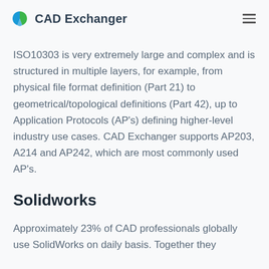CAD Exchanger
ISO10303 is very extremely large and complex and is structured in multiple layers, for example, from physical file format definition (Part 21) to geometrical/topological definitions (Part 42), up to Application Protocols (AP's) defining higher-level industry use cases. CAD Exchanger supports AP203, A214 and AP242, which are most commonly used AP's.
Solidworks
Approximately 23% of CAD professionals globally use SolidWorks on daily basis. Together they